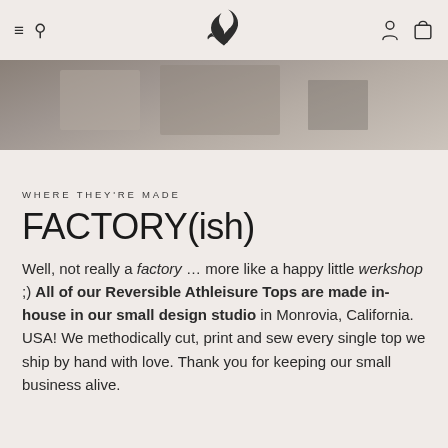≡  🔍  [logo]  [user icon]  [cart icon]
[Figure (photo): Partial view of a factory or workshop interior showing machinery and equipment, muted warm tones]
WHERE THEY'RE MADE
FACTORY(ish)
Well, not really a factory … more like a happy little werkshop ;) All of our Reversible Athleisure Tops are made in-house in our small design studio in Monrovia, California. USA! We methodically cut, print and sew every single top we ship by hand with love. Thank you for keeping our small business alive.